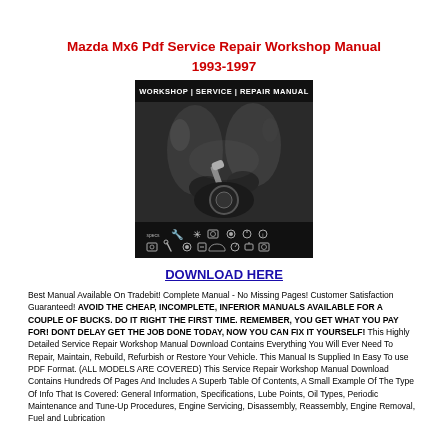Mazda Mx6 Pdf Service Repair Workshop Manual 1993-1997
[Figure (photo): Workshop/Service/Repair Manual cover image showing a mechanic working on an engine with tools, with icons for specs, tools, and services at the bottom. Header reads 'WORKSHOP | SERVICE | REPAIR MANUAL']
DOWNLOAD HERE
Best Manual Available On Tradebit! Complete Manual - No Missing Pages! Customer Satisfaction Guaranteed! AVOID THE CHEAP, INCOMPLETE, INFERIOR MANUALS AVAILABLE FOR A COUPLE OF BUCKS. DO IT RIGHT THE FIRST TIME. REMEMBER, YOU GET WHAT YOU PAY FOR! DONT DELAY GET THE JOB DONE TODAY, NOW YOU CAN FIX IT YOURSELF! This Highly Detailed Service Repair Workshop Manual Download Contains Everything You Will Ever Need To Repair, Maintain, Rebuild, Refurbish or Restore Your Vehicle. This Manual Is Supplied In Easy To use PDF Format. (ALL MODELS ARE COVERED) This Service Repair Workshop Manual Download Contains Hundreds Of Pages And Includes A Superb Table Of Contents, A Small Example Of The Type Of Info That Is Covered: General Information, Specifications, Lube Points, Oil Types, Periodic Maintenance and Tune-Up Procedures, Engine Servicing, Disassembly, Reassembly, Engine Removal, Fuel and Lubrication